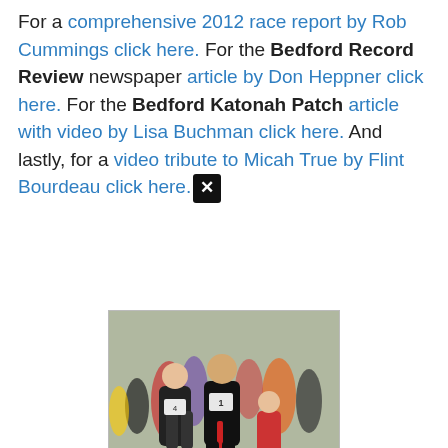For a comprehensive 2012 race report by Rob Cummings click here. For the Bedford Record Review newspaper article by Don Heppner click here. For the Bedford Katonah Patch article with video by Lisa Buchman click here. And lastly, for a video tribute to Micah True by Flint Bourdeau click here.
[Figure (photo): Group of runners in a cross-country race on a grass field; person in black with red stripe pants wearing race bib number 1 is prominent in the foreground.]
Youngest runner Eamonn